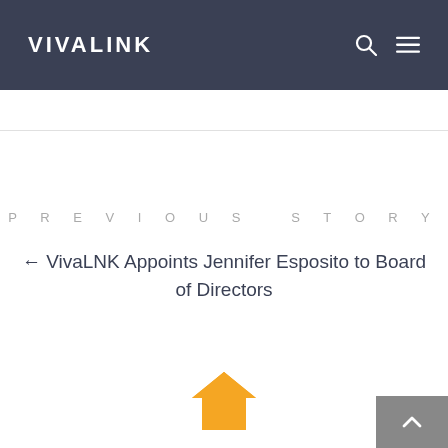VIVALINK
PREVIOUS STORY
← VivaLNK Appoints Jennifer Esposito to Board of Directors
[Figure (illustration): Orange house/home icon]
[Figure (illustration): Grey scroll-to-top button with upward caret]